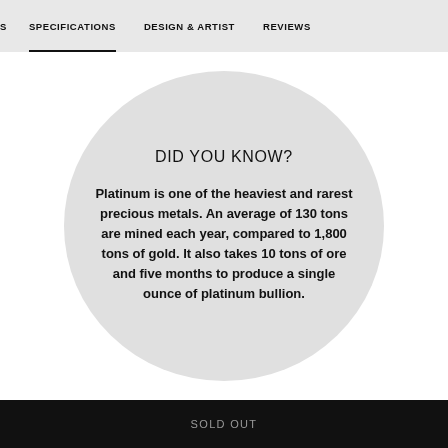S   SPECIFICATIONS   DESIGN & ARTIST   REVIEWS
DID YOU KNOW?
Platinum is one of the heaviest and rarest precious metals. An average of 130 tons are mined each year, compared to 1,800 tons of gold. It also takes 10 tons of ore and five months to produce a single ounce of platinum bullion.
SOLD OUT